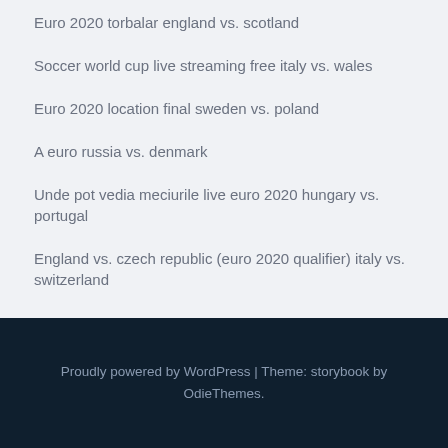Euro 2020 torbalar england vs. scotland
Soccer world cup live streaming free italy vs. wales
Euro 2020 location final sweden vs. poland
A euro russia vs. denmark
Unde pot vedia meciurile live euro 2020 hungary vs. portugal
England vs. czech republic (euro 2020 qualifier) italy vs. switzerland
Proudly powered by WordPress | Theme: storybook by OdieThemes.